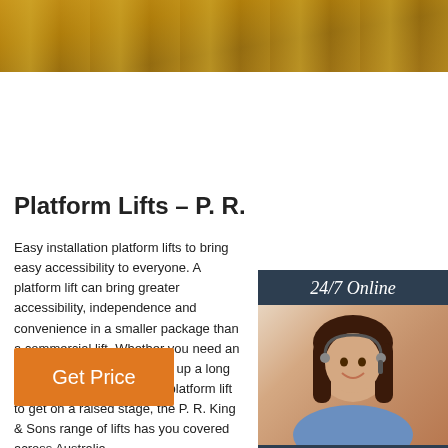[Figure (photo): Top banner image showing a yellow/orange industrial platform or lift surface on a floor]
[Figure (photo): Chat widget with '24/7 Online' header, photo of a woman with a headset smiling, 'Click here for free chat!' text, and an orange QUOTATION button]
Platform Lifts – P. R. King &
Easy installation platform lifts to bring easy accessibility to everyone. A platform lift can bring greater accessibility, independence and convenience in a smaller package than a commercial lift. Whether you need an inclined wheelchair lift to go up a long flight of stairs, or a vertical platform lift to get on a raised stage, the P. R. King & Sons range of lifts has you covered across Australia.
Get Price